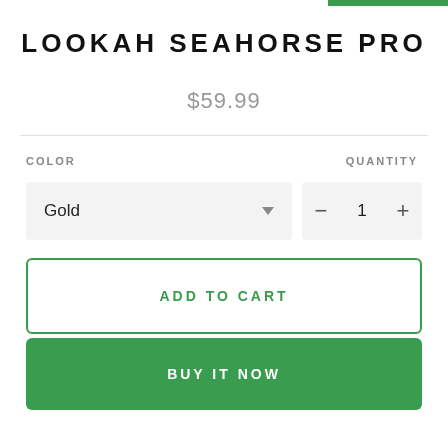LOOKAH SEAHORSE PRO
$59.99
COLOR
QUANTITY
Gold
1
ADD TO CART
BUY IT NOW